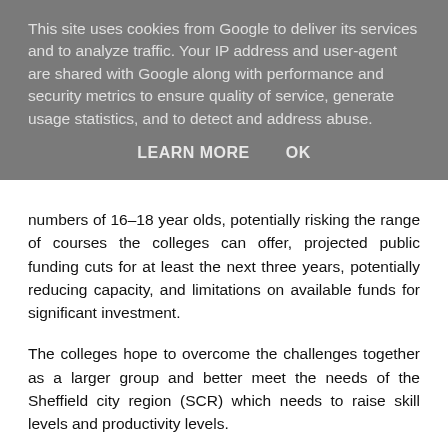This site uses cookies from Google to deliver its services and to analyze traffic. Your IP address and user-agent are shared with Google along with performance and security metrics to ensure quality of service, generate usage statistics, and to detect and address abuse.
LEARN MORE    OK
numbers of 16–18 year olds, potentially risking the range of courses the colleges can offer, projected public funding cuts for at least the next three years, potentially reducing capacity, and limitations on available funds for significant investment.
The colleges hope to overcome the challenges together as a larger group and better meet the needs of the Sheffield city region (SCR) which needs to raise skill levels and productivity levels.
Advertisement